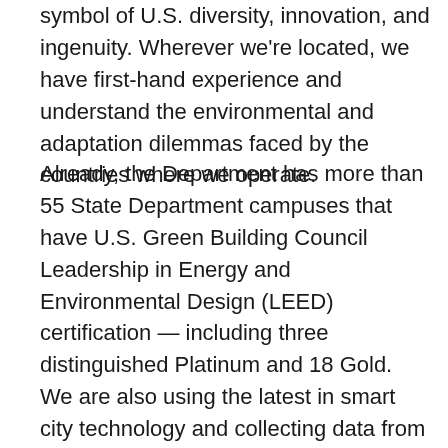symbol of U.S. diversity, innovation, and ingenuity. Wherever we're located, we have first-hand experience and understand the environmental and adaptation dilemmas faced by the countries where we operate.
Already, the Department has more than 55 State Department campuses that have U.S. Green Building Council Leadership in Energy and Environmental Design (LEED) certification — including three distinguished Platinum and 18 Gold. We are also using the latest in smart city technology and collecting data from energy sensors and air quality monitors to drive decision making. Over the last two years, the Department has also modernized data collection for utilities for our overseas facilities: now, we have a centralized, automated platform that does data intake and analysis in 45 languages and 106 currencies. This data is the